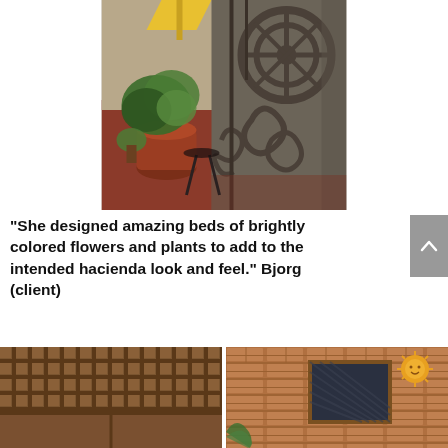[Figure (photo): Close-up photo of an ornate iron gate with scrollwork and spiral designs, with potted plants and a terracotta courtyard visible in the background. A yellow umbrella is partially visible at the top.]
“She designed amazing beds of brightly colored flowers and plants to add to the intended hacienda look and feel.” Bjorg (client)
[Figure (photo): Two side-by-side photos at the bottom: left shows a wooden lattice/trellis gate structure; right shows a brick wall with a decorative sun face ornament and a window with a lattice screen.]